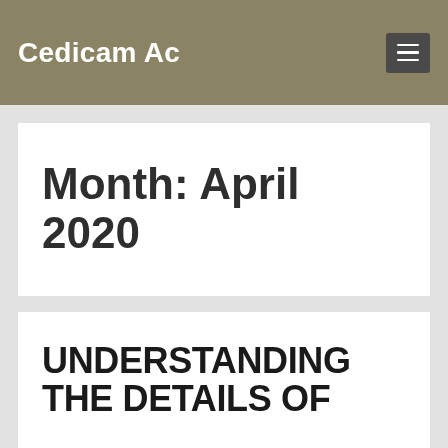Cedicam Ac
Month: April 2020
UNDERSTANDING THE DETAILS OF